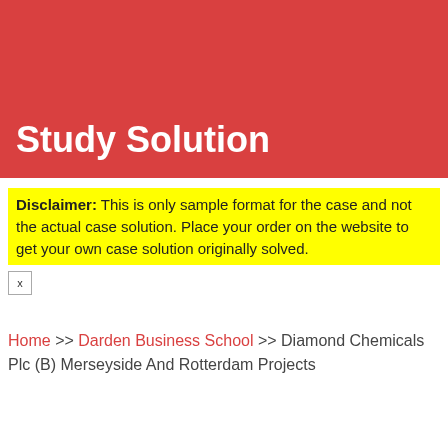Study Solution
Disclaimer: This is only sample format for the case and not the actual case solution. Place your order on the website to get your own case solution originally solved.
Home >> Darden Business School >> Diamond Chemicals Plc (B) Merseyside And Rotterdam Projects